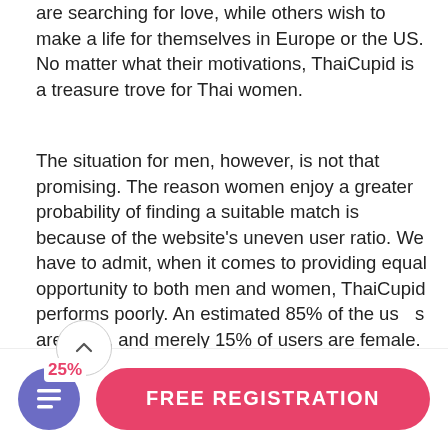are searching for love, while others wish to make a life for themselves in Europe or the US. No matter what their motivations, ThaiCupid is a treasure trove for Thai women.
The situation for men, however, is not that promising. The reason women enjoy a greater probability of finding a suitable match is because of the website's uneven user ratio. We have to admit, when it comes to providing equal opportunity to both men and women, ThaiCupid performs poorly. An estimated 85% of the users are male, and merely 15% of users are female.
Despite the uncannily unequal user ratio, several success stories have come out of ThaiCupid. The website must be doing something right to see new
FREE REGISTRATION